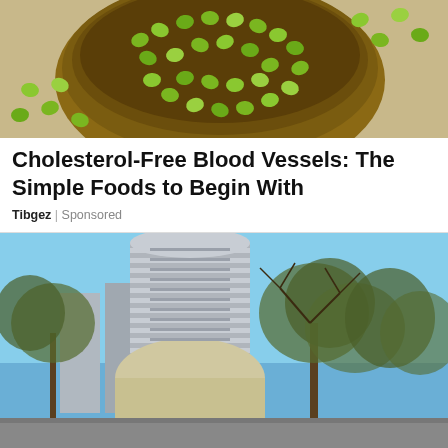[Figure (photo): Bowl of green mung beans/peas spilled on a surface, overhead view]
Cholesterol-Free Blood Vessels: The Simple Foods to Begin With
Tibgez | Sponsored
[Figure (photo): Bombay Stock Exchange (BSE) building in Mumbai, India with trees in foreground against blue sky]
Indian stocks fall for the eighth...